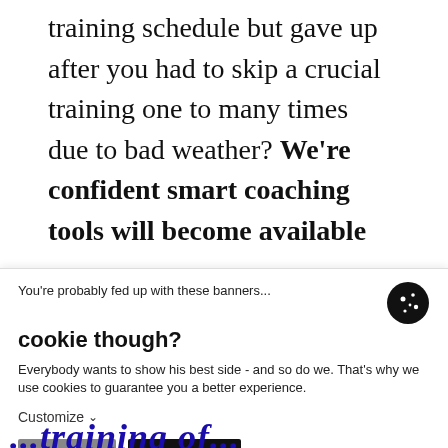training schedule but gave up after you had to skip a crucial training one to many times due to bad weather? We're confident smart coaching tools will become available
You're probably fed up with these banners... cookie though? Everybody wants to show his best side - and so do we. That's why we use cookies to guarantee you a better experience. Customize ∨ [Decline] [Accept all]
...training...